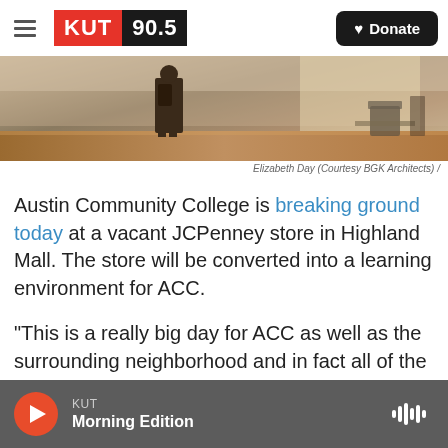KUT 90.5 | Donate
[Figure (photo): Interior of a building/mall space, showing a person walking with a backpack, wooden floors, and seating areas visible in background.]
Elizabeth Day (Courtesy BGK Architects) /
Austin Community College is breaking ground today at a vacant JCPenney store in Highland Mall. The store will be converted into a learning environment for ACC.
"This is a really big day for ACC as well as the surrounding neighborhood and in fact all of the communities that we serve," ACC spokesperson Alexis Patterson said. "It's great for the area. It
KUT Morning Edition